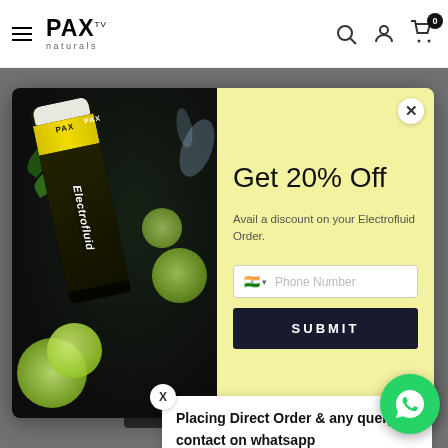PAX naturals — navigation header with hamburger menu, search, account, and cart icons
[Figure (screenshot): Modal popup overlay on PAX naturals e-commerce product page. Left half shows product photo of Electrofluid effervescent tablet tube with limes and water splash on dark background. Right half on yellow background shows 'Get 20% Off' discount offer with phone number input field and Submit button.]
Get 20% Off
Avail a discount on your Electrofluid Order.
Placing Direct Order & any query contact on whatsapp
ADD TO CART